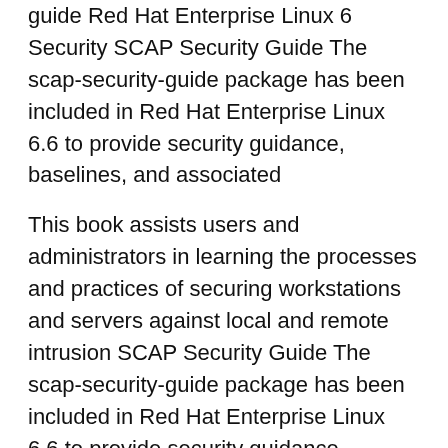guide Red Hat Enterprise Linux 6 Security SCAP Security Guide The scap-security-guide package has been included in Red Hat Enterprise Linux 6.6 to provide security guidance, baselines, and associated
This book assists users and administrators in learning the processes and practices of securing workstations and servers against local and remote intrusion SCAP Security Guide The scap-security-guide package has been included in Red Hat Enterprise Linux 6.6 to provide security guidance, baselines, and associated
Engage with our Red Hat Product Security team, Security Guide. Red Hat Enterprise Linux 7. A Guide to Securing Red Hat Enterprise Linux 7.